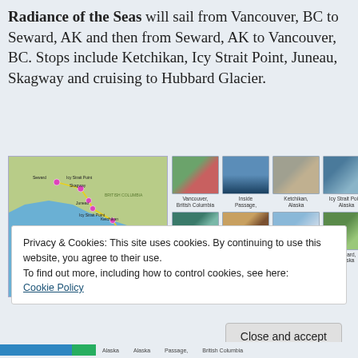Radiance of the Seas will sail from Vancouver, BC to Seward, AK and then from Seward, AK to Vancouver, BC. Stops include Ketchikan, Icy Strait Point, Juneau, Skagway and cruising to Hubbard Glacier.
[Figure (map): Cruise route map showing Alaska and British Columbia coastline with yellow route line connecting Vancouver, Skagway, Juneau, Icy Strait Point, Ketchikan, and Seward, with pink and green dots marking ports of call.]
[Figure (photo): Vancouver, British Columbia photo]
[Figure (photo): Inside Passage photo]
[Figure (photo): Ketchikan, Alaska photo]
[Figure (photo): Icy Strait Point, Alaska photo]
[Figure (photo): Juneau, Alaska photo]
[Figure (photo): Skagway, Alaska photo]
[Figure (photo): Hubbard Glacier (Cruising) photo]
[Figure (photo): Seward, Alaska photo]
Privacy & Cookies: This site uses cookies. By continuing to use this website, you agree to their use.
To find out more, including how to control cookies, see here:
Cookie Policy
Close and accept
Alaska   Alaska   Passage,   British Columbia